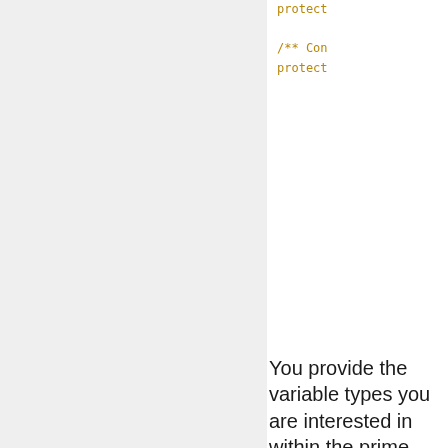protect

/** Con
protect
You provide the variable types you are interested in within the prime input: just return a herschel.ia.gui.kernel.To initiated with the proper class of data you